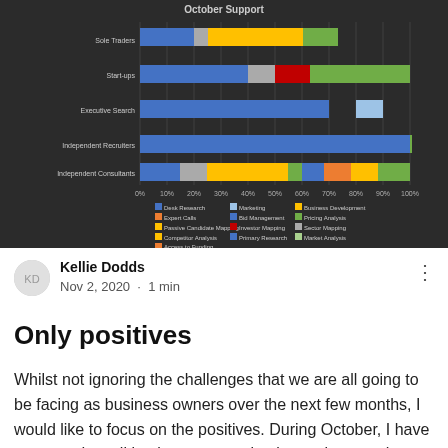[Figure (stacked-bar-chart): Stacked horizontal bar chart showing October Support breakdown across five business categories with multiple colored segments representing Desk Research, Marketing, Business Development, Expert Calls, Bid Management, Pricing Analysis, Passive Candidate Mapping, Investor Mapping, Sector Mapping, Competitor Analysis, Primary Research, Market Analysis, Access to Funding]
Kellie Dodds
Nov 2, 2020 · 1 min
Only positives
Whilst not ignoring the challenges that we are all going to be facing as business owners over the next few months, I would like to focus on the positives. During October, I have supported small businesses growing in numbers as they